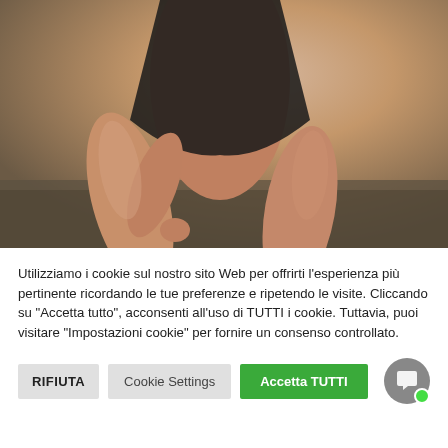[Figure (photo): Artistic photo of a person posing, cropped torso and legs, wearing dark clothing, on a draped surface with neutral background tones]
Utilizziamo i cookie sul nostro sito Web per offrirti l'esperienza più pertinente ricordando le tue preferenze e ripetendo le visite. Cliccando su "Accetta tutto", acconsenti all'uso di TUTTI i cookie. Tuttavia, puoi visitare "Impostazioni cookie" per fornire un consenso controllato.
RIFIUTA | Cookie Settings | Accetta TUTTI